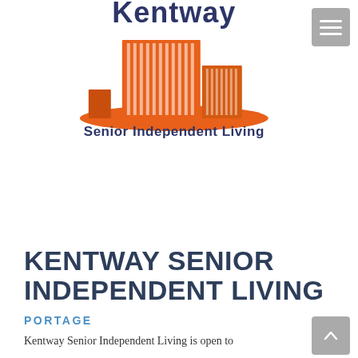[Figure (logo): Kentway Senior Independent Living logo: orange building illustration with the word 'Kentway' in dark blue above and 'Senior Independent Living' below in dark blue, on a white background.]
KENTWAY SENIOR INDEPENDENT LIVING
PORTAGE
Kentway Senior Independent Living is open to